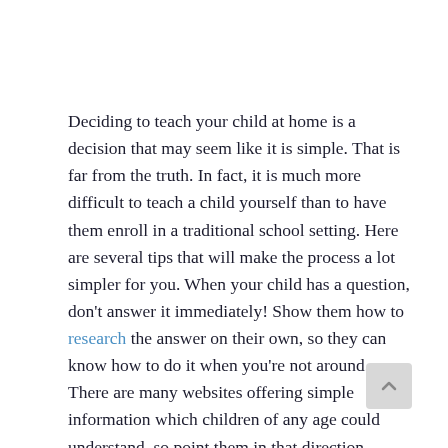Deciding to teach your child at home is a decision that may seem like it is simple. That is far from the truth. In fact, it is much more difficult to teach a child yourself than to have them enroll in a traditional school setting. Here are several tips that will make the process a lot simpler for you. When your child has a question, don't answer it immediately! Show them how to research the answer on their own, so they can know how to do it when you're not around. There are many websites offering simple information which children of any age could understand, so point them in that direction.
Tips to consider: